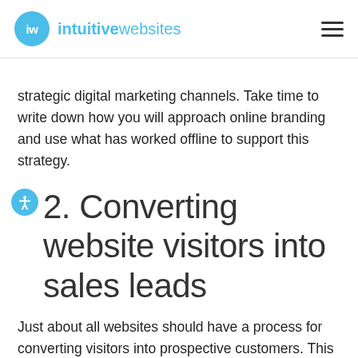iw intuitivewebsites
strategic digital marketing channels. Take time to write down how you will approach online branding and use what has worked offline to support this strategy.
2. Converting website visitors into sales leads
Just about all websites should have a process for converting visitors into prospective customers. This is also a very common strategy and very important, as a majority of people